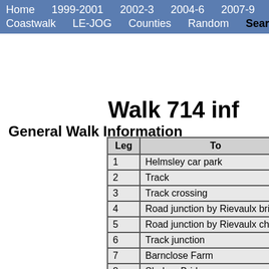Home  1999-2001  2002-3  2004-6  2007-9  Coastwalk  LE-JOG  Counties  Random  Search
Walk 714 inf
General Walk Information
| Leg | To |
| --- | --- |
| 1 | Helmsley car park |
| 2 | Track |
| 3 | Track crossing |
| 4 | Road junction by Rievaulx bri |
| 5 | Road junction by Rievaulx ch |
| 6 | Track junction |
| 7 | Barnclose Farm |
| 8 | Shakon Bridge |